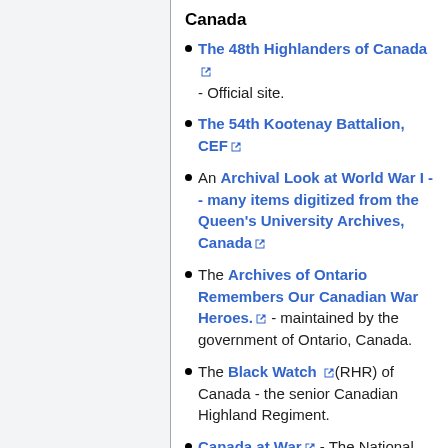Canada
The 48th Highlanders of Canada [external link] - Official site.
The 54th Kootenay Battalion, CEF [external link]
An Archival Look at World War I -- many items digitized from the Queen's University Archives, Canada [external link]
The Archives of Ontario Remembers Our Canadian War Heroes. [external link] - maintained by the government of Ontario, Canada.
The Black Watch [external link] (RHR) of Canada - the senior Canadian Highland Regiment.
Canada at War [external link] - The National SchoolNet collections site, part of Canada's Digital Collections.